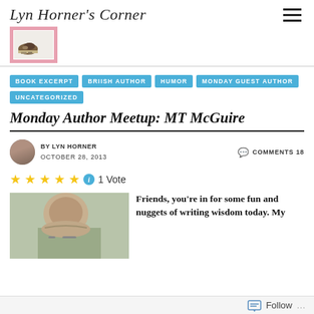Lyn Horner's Corner
[Figure (logo): Blog logo with cat lying on books, pink border background]
BOOK EXCERPT
BRIISH AUTHOR
HUMOR
MONDAY GUEST AUTHOR
UNCATEGORIZED
Monday Author Meetup: MT McGuire
BY LYN HORNER
OCTOBER 28, 2013
COMMENTS 18
1 Vote
[Figure (photo): Author photo of MT McGuire, person with dark hair and glasses on light green background]
Friends, you're in for some fun and nuggets of writing wisdom today. My